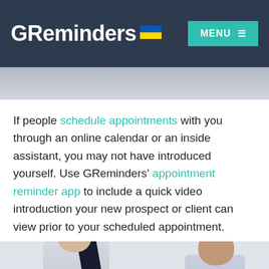GReminders MENU
[Figure (photo): Partial view of a person, cropped hero image at top of page]
If people schedule appointments with you through an online calendar or an inside assistant, you may not have introduced yourself. Use GReminders' appointment reminder app to include a quick video introduction your new prospect or client can view prior to your scheduled appointment.
[Figure (photo): Two people shown at bottom of page: one holding a phone on the left, one person's head visible on the right]